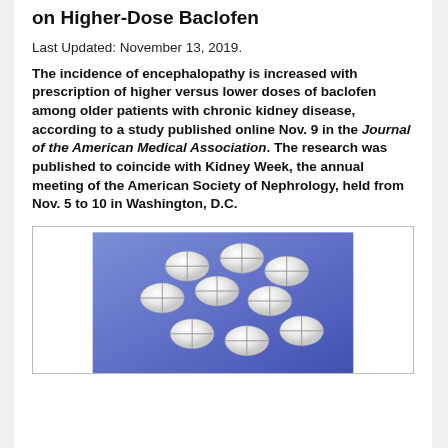on Higher-Dose Baclofen
Last Updated: November 13, 2019.
The incidence of encephalopathy is increased with prescription of higher versus lower doses of baclofen among older patients with chronic kidney disease, according to a study published online Nov. 9 in the Journal of the American Medical Association. The research was published to coincide with Kidney Week, the annual meeting of the American Society of Nephrology, held from Nov. 5 to 10 in Washington, D.C.
[Figure (photo): Photograph of multiple white round scored tablets (baclofen pills) arranged on a blue background]